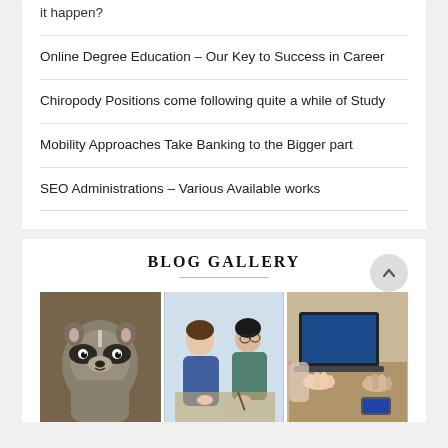it happen?
Online Degree Education – Our Key to Success in Career
Chiropody Positions come following quite a while of Study
Mobility Approaches Take Banking to the Bigger part
SEO Administrations – Various Available works
BLOG GALLERY
[Figure (photo): A raccoon clinging to a tree, close-up photo]
[Figure (photo): Two women in a professional meeting, shaking hands or consulting]
[Figure (photo): People working on laptops at a desk, hands visible typing]